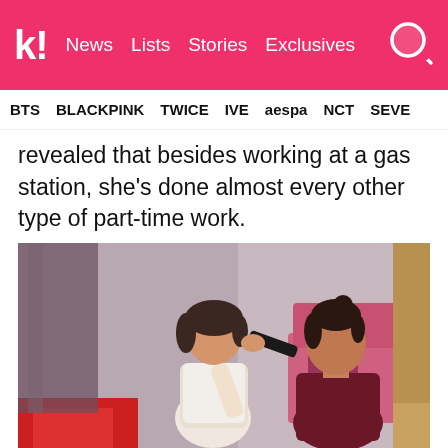k! News Lists Stories Exclusives
BTS BLACKPINK TWICE IVE aespa NCT SEVE
revealed that besides working at a gas station, she's done almost every other type of part-time work.
[Figure (photo): Two women in a room; one woman with short hair in a white top uses a hair styling tool on another woman with dark upswept hair wearing a dark maroon turtleneck, seated. Pink sofa and red blanket visible in background.]
6. Crayon Pop Geummi